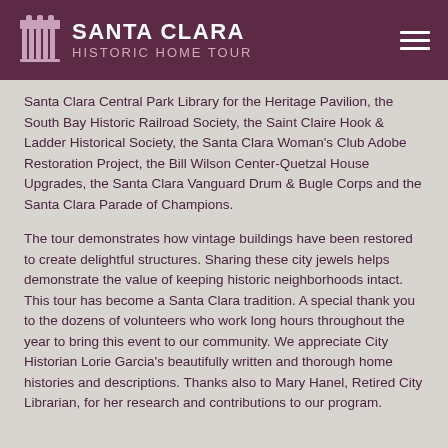SANTA CLARA HISTORIC HOME TOUR
Santa Clara Central Park Library for the Heritage Pavilion, the South Bay Historic Railroad Society, the Saint Claire Hook & Ladder Historical Society, the Santa Clara Woman's Club Adobe Restoration Project, the Bill Wilson Center-Quetzal House Upgrades, the Santa Clara Vanguard Drum & Bugle Corps and the Santa Clara Parade of Champions.
The tour demonstrates how vintage buildings have been restored to create delightful structures. Sharing these city jewels helps demonstrate the value of keeping historic neighborhoods intact. This tour has become a Santa Clara tradition. A special thank you to the dozens of volunteers who work long hours throughout the year to bring this event to our community. We appreciate City Historian Lorie Garcia's beautifully written and thorough home histories and descriptions. Thanks also to Mary Hanel, Retired City Librarian, for her research and contributions to our program.